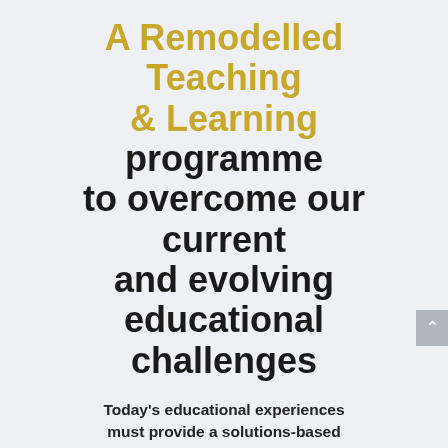A Remodelled Teaching & Learning programme to overcome our current and evolving educational challenges
Today's educational experiences must provide a solutions-based approach to overcoming our global challenges
Developing students' innovative and creative spirit